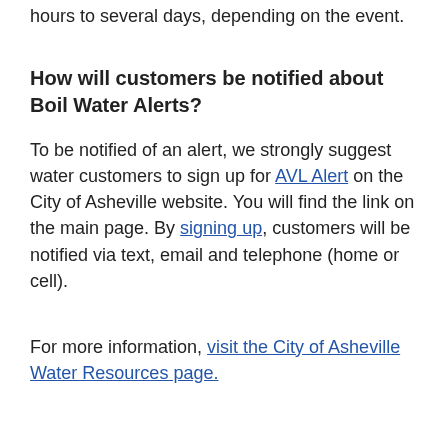hours to several days, depending on the event.
How will customers be notified about Boil Water Alerts?
To be notified of an alert, we strongly suggest water customers to sign up for AVL Alert on the City of Asheville website. You will find the link on the main page. By signing up, customers will be notified via text, email and telephone (home or cell).
For more information, visit the City of Asheville Water Resources page.